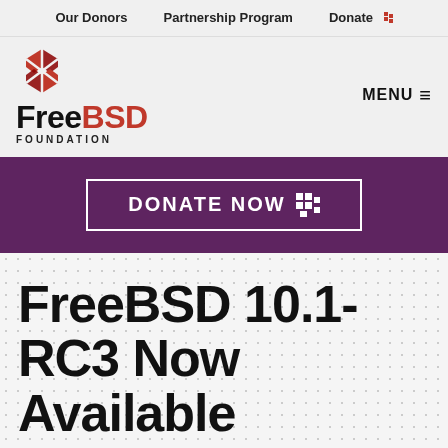Our Donors | Partnership Program | Donate
[Figure (logo): FreeBSD Foundation logo with red diamond/arrow icon and text 'FreeBSD FOUNDATION']
[Figure (other): MENU hamburger button]
[Figure (other): Purple DONATE NOW banner button with arrow icon]
FreeBSD 10.1-RC3 Now Available